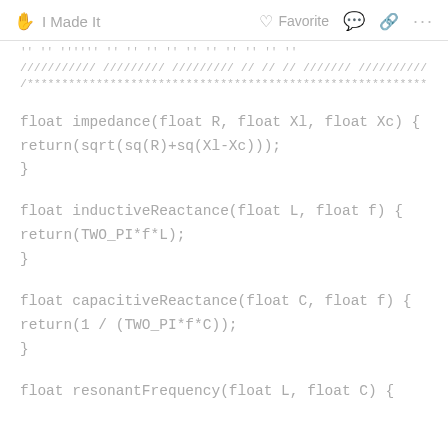I Made It   Favorite   ... (share/comment icons)
/////////// ///////// ///////// // // // /////// /////////// // //// /////////
/***********************************************************************
float impedance(float R, float Xl, float Xc) {
return(sqrt(sq(R)+sq(Xl-Xc)));
}
float inductiveReactance(float L, float f) {
return(TWO_PI*f*L);
}
float capacitiveReactance(float C, float f) {
return(1 / (TWO_PI*f*C));
}
float resonantFrequency(float L, float C) {